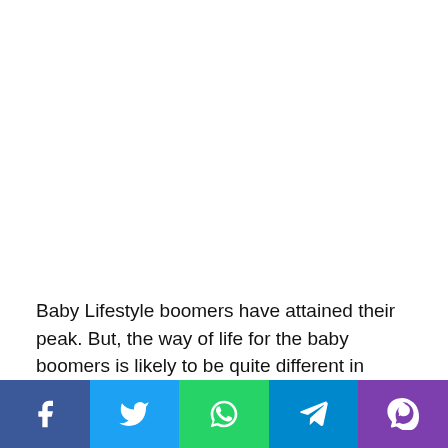Baby Lifestyle boomers have attained their peak. But, the way of life for the baby boomers is likely to be quite different in comparison to the previous generation. Because of the
[Figure (other): Social media share bar with Facebook, Twitter, WhatsApp, Telegram, and Viber buttons]